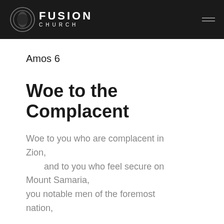FUSION CHURCH
Amos 6
Woe to the Complacent
Woe to you who are complacent in Zion,
    and to you who feel secure on Mount Samaria,
you notable men of the foremost nation,